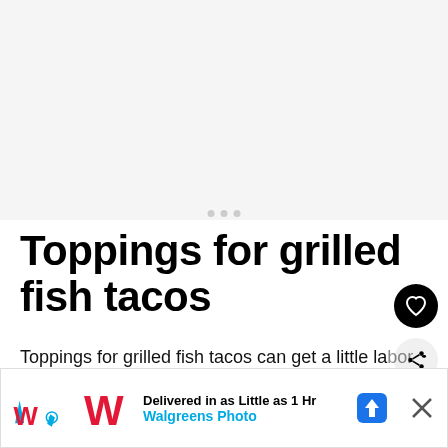[Figure (other): Gray placeholder area for an image or video at the top of the page]
Toppings for grilled fish tacos
Toppings for grilled fish tacos can get a little labor intensive if you're not careful! So for this recipe, we got a few I'd like to
[Figure (other): Advertisement banner: Walgreens Photo — Delivered in as Little as 1 Hr]